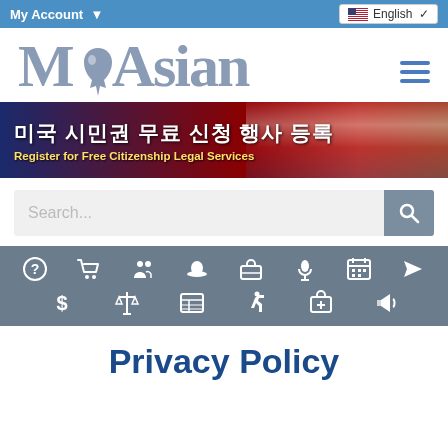My Account  English
[Figure (logo): MiAsian website logo with Michigan state shape incorporated into the M, large gray text reading MiAsian, with blue hamburger menu icon on right]
[Figure (illustration): Banner with American flag background, Korean text reading 미국 시민권 무료 신청 행사 등록, English subtitle Register for Free Citizenship Legal Services]
Search...
[Figure (infographic): Gray navigation bar with two rows of white icons: question mark, shopping cart, people/community, hat, briefcase, microphone, calendar, airplane, dollar sign, scales of justice, news/grid, accessibility person, first aid kit, megaphone]
Privacy Policy